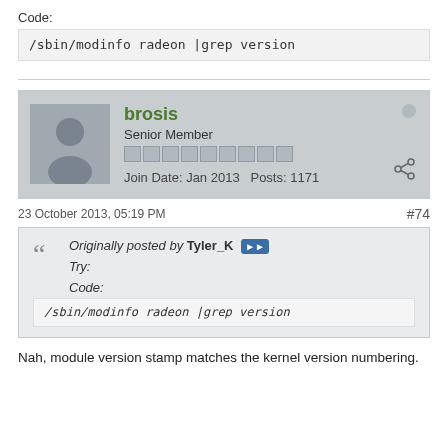Code:
/sbin/modinfo radeon |grep version
[Figure (other): User profile card for brosis, Senior Member, Join Date Jan 2013, Posts 1171]
23 October 2013, 05:19 PM
#74
Originally posted by Tyler_K
Try:
Code:
/sbin/modinfo radeon |grep version
Nah, module version stamp matches the kernel version numbering.